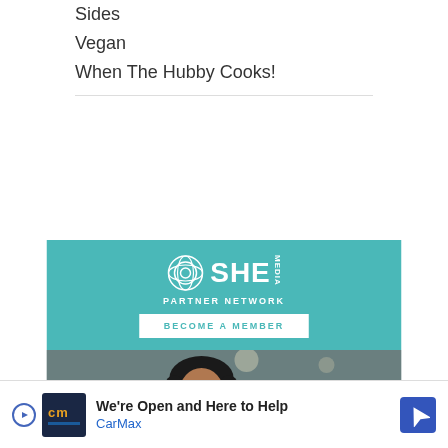Sides
Vegan
When The Hubby Cooks!
[Figure (illustration): SHE Media Partner Network advertisement with teal background showing logo, 'BECOME A MEMBER' button, and photo of smiling woman with laptop]
[Figure (illustration): CarMax advertisement banner: 'We're Open and Here to Help' with CarMax logo and navigation icon]